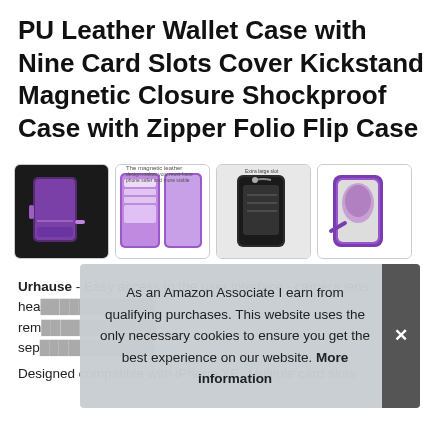PU Leather Wallet Case with Nine Card Slots Cover Kickstand Magnetic Closure Shockproof Case with Zipper Folio Flip Case
[Figure (photo): Four product thumbnail images of a purple PU leather wallet phone case showing different angles and features: closed case with wrist strap, open case showing card slots, zipper closure detail, and kickstand in use.]
Urhause - Easy access to the user interface - camera lens, hea[dphone port], rem[ovable wrist strap], sep[arate zipper pocket]
As an Amazon Associate I earn from qualifying purchases. This website uses the only necessary cookies to ensure you get the best experience on our website. More information
Designed compatible with iPhone XR. Multiple card slots